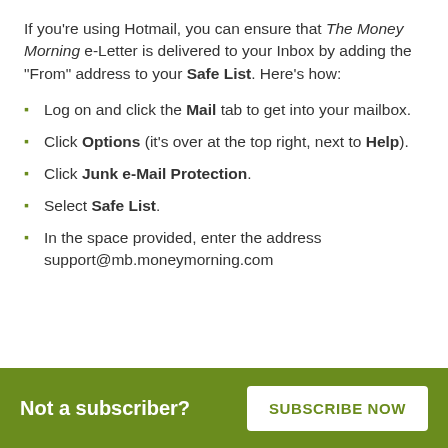If you're using Hotmail, you can ensure that The Money Morning e-Letter is delivered to your Inbox by adding the "From" address to your Safe List. Here's how:
Log on and click the Mail tab to get into your mailbox.
Click Options (it's over at the top right, next to Help).
Click Junk e-Mail Protection.
Select Safe List.
In the space provided, enter the address support@mb.moneymorning.com
Not a subscriber? SUBSCRIBE NOW